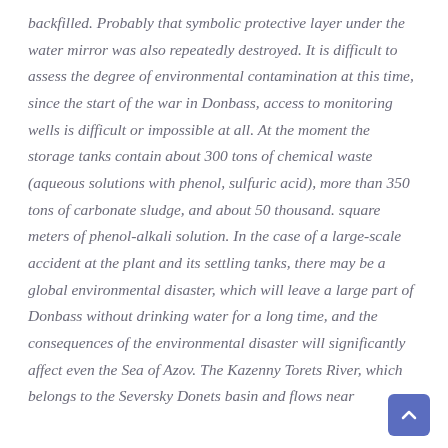backfilled. Probably that symbolic protective layer under the water mirror was also repeatedly destroyed. It is difficult to assess the degree of environmental contamination at this time, since the start of the war in Donbass, access to monitoring wells is difficult or impossible at all. At the moment the storage tanks contain about 300 tons of chemical waste (aqueous solutions with phenol, sulfuric acid), more than 350 tons of carbonate sludge, and about 50 thousand. square meters of phenol-alkali solution. In the case of a large-scale accident at the plant and its settling tanks, there may be a global environmental disaster, which will leave a large part of Donbass without drinking water for a long time, and the consequences of the environmental disaster will significantly affect even the Sea of Azov. The Kazenny Torets River, which belongs to the Seversky Donets basin and flows near